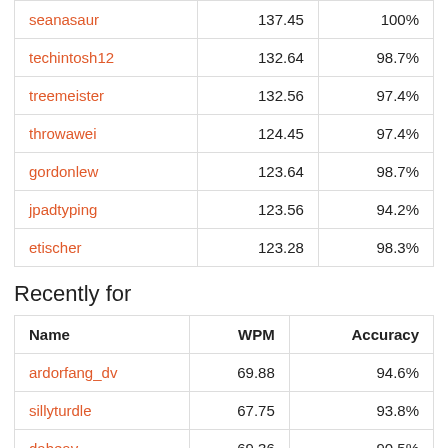| seanasaur | 137.45 | 100% |
| techintosh12 | 132.64 | 98.7% |
| treemeister | 132.56 | 97.4% |
| throwawei | 124.45 | 97.4% |
| gordonlew | 123.64 | 98.7% |
| jpadtyping | 123.56 | 94.2% |
| etischer | 123.28 | 98.3% |
Recently for
| Name | WPM | Accuracy |
| --- | --- | --- |
| ardorfang_dv | 69.88 | 94.6% |
| sillyturdle | 67.75 | 93.8% |
| dabeav | 69.36 | 90.5% |
| donbanana | 45.28 | 85.1% |
| smoke_pope | 85.23 | 95.8% |